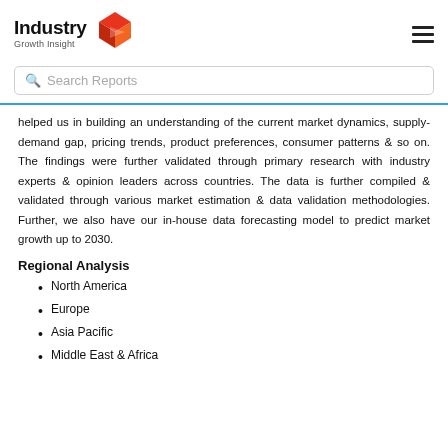[Figure (logo): Industry Growth Insight logo with red geometric cube icon and bold text]
Search Reports
helped us in building an understanding of the current market dynamics, supply-demand gap, pricing trends, product preferences, consumer patterns & so on. The findings were further validated through primary research with industry experts & opinion leaders across countries. The data is further compiled & validated through various market estimation & data validation methodologies. Further, we also have our in-house data forecasting model to predict market growth up to 2030.
Regional Analysis
North America
Europe
Asia Pacific
Middle East & Africa